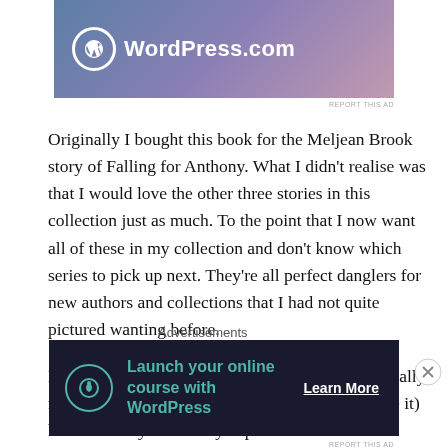[Figure (logo): WordPress.com advertisement banner with gradient blue-purple-pink background and WordPress logo (W in circle) and text 'WordPress.com']
REPORT THIS AD
Originally I bought this book for the Meljean Brook story of Falling for Anthony. What I didn't realise was that I would love the other three stories in this collection just as much. To the point that I now want all of these in my collection and don't know which series to pick up next. They're all perfect danglers for new authors and collections that I had not quite pictured wanting before.
For someone who, up until two years ago didn't really read any romances, this collection (and others like it) have certainly drastically expanded the shelves. Alright, it's not
Advertisements
[Figure (logo): Dark navy advertisement banner: 'Launch your online course with WordPress' with teal text and icon, and 'Learn More' button in white]